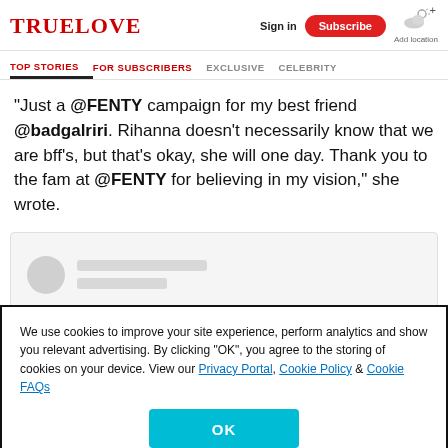TRUELOVE | Sign in | Subscribe | Add location
TOP STORIES | FOR SUBSCRIBERS | EXCLUSIVE | CELEBRITY
“Just a @FENTY campaign for my best friend @badgalriri. Rihanna doesn't necessarily know that we are bff's, but that's okay, she will one day. Thank you to the fam at @FENTY for believing in my vision,” she wrote.
[Figure (screenshot): Social media post placeholder with avatar and greyed-out text lines]
We use cookies to improve your site experience, perform analytics and show you relevant advertising. By clicking “OK”, you agree to the storing of cookies on your device. View our Privacy Portal, Cookie Policy & Cookie FAQs